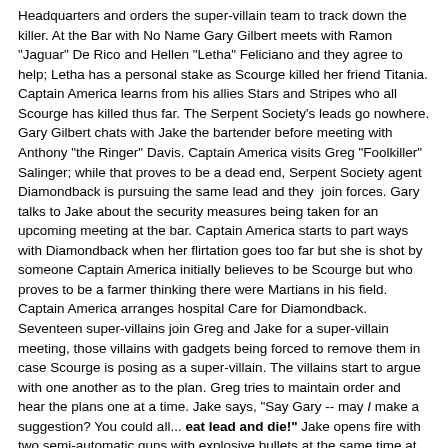Headquarters and orders the super-villain team to track down the killer. At the Bar with No Name Gary Gilbert meets with Ramon "Jaguar" De Rico and Hellen "Letha" Feliciano and they agree to help; Letha has a personal stake as Scourge killed her friend Titania. Captain America learns from his allies Stars and Stripes who all Scourge has killed thus far. The Serpent Society's leads go nowhere. Gary Gilbert chats with Jake the bartender before meeting with Anthony "the Ringer" Davis. Captain America visits Greg "Foolkiller" Salinger; while that proves to be a dead end, Serpent Society agent Diamondback is pursuing the same lead and they  join forces. Gary talks to Jake about the security measures being taken for an upcoming meeting at the bar. Captain America starts to part ways with Diamondback when her flirtation goes too far but she is shot by someone Captain America initially believes to be Scourge but who proves to be a farmer thinking there were Martians in his field. Captain America arranges hospital Care for Diamondback. Seventeen super-villains join Greg and Jake for a super-villain meeting, those villains with gadgets being forced to remove them in case Scourge is posing as a super-villain. The villains start to argue with one another as to the plan. Greg tries to maintain order and hear the plans one at a time. Jake says, "Say Gary -- may I make a suggestion? You could all... eat lead and die!" Jake opens fire with two semi-automatic guns with explosive bullets at the same time at the same time, so there's no chance to veto that particular suggestion. After the shooting stops, Jake, removing his mask says, "Dead -- all eighteen of them! Justice is served!"
Is this a key part of the overall Scourge storyline? Oh yes. Aside from being a key part of the Hunt for Scourge story, it's his greatest success, though it also plays into his downfall in the next issue.
Does this tie into the main story in this issue? It is the main story this time.
Postmortem use of victims: